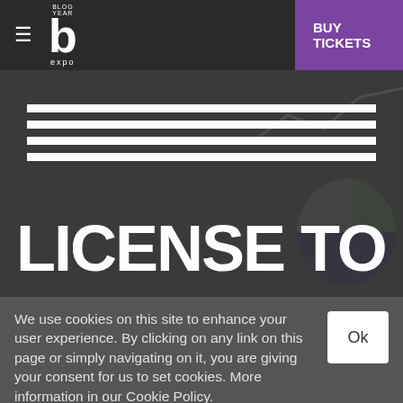≡  b expo  BUY TICKETS
[Figure (screenshot): Hero banner with decorative horizontal white stripes and large white text reading 'LICENSE TO' on a dark charcoal background with faint chart graphics]
LICENSE TO
We use cookies on this site to enhance your user experience. By clicking on any link on this page or simply navigating on it, you are giving your consent for us to set cookies. More information in our Cookie Policy.